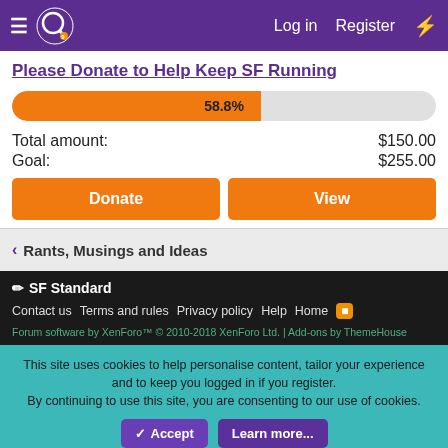Log in  Register
Please Donate to Help Keep SF Running
[Figure (other): Progress bar showing 58.8% fundraising completion]
Total amount:  $150.00
Goal:  $255.00
Donate  View
< Rants, Musings and Ideas
✏ SF Standard
Contact us  Terms and rules  Privacy policy  Help  Home
Forum software by XenForo™ © 2010-2018 XenForo Ltd. | Add-ons by ThemeHouse
This site uses cookies to help personalise content, tailor your experience and to keep you logged in if you register. By continuing to use this site, you are consenting to our use of cookies.
✓ Accept  Learn more...